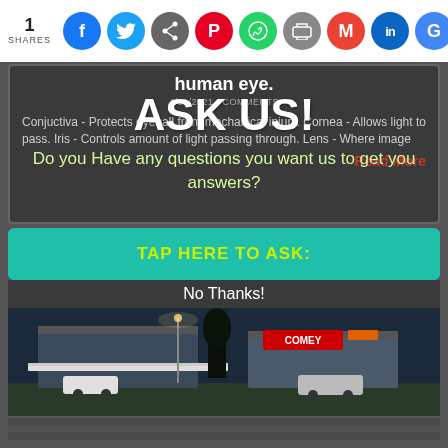1 SHARES — social sharing bar with Facebook, Twitter, Share, Pinterest, WhatsApp, Print, Gmail, LinkedIn, Google icons
human eye.
4/11/2021 · COMMENTS
Conjuctiva - Protects eyeball from mechanical injury. Cornea - Allows light to pass. Iris - Controls amount of light passing through. Lens - Where image
ASK US!
Do you Have any questions you want us to get you answers?
Read More
TAP HERE TO ASK:
No Thanks!
[Figure (photo): Exterior photo of a commercial strip mall or auto store at dusk/night, with signs including 'COMEY' visible, cars parked in front.]
[Figure (photo): Partial bottom strip showing another image, appears to be a road or outdoor scene.]